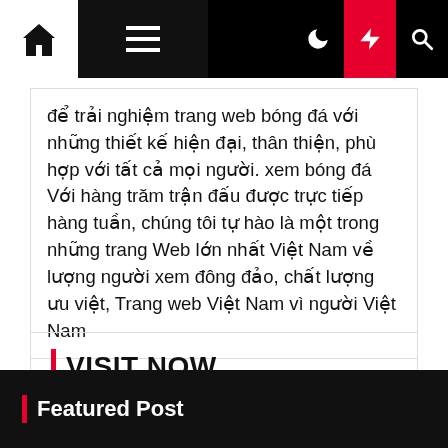Navigation bar with home, menu, moon, lightning (active), and search icons
để trải nghiệm trang web bóng đá với những thiết kế hiện đại, thân thiện, phù hợp với tất cả mọi người. xem bóng đá Với hàng trăm trận đấu được trực tiếp hàng tuần, chúng tôi tự hào là một trong những trang Web lớn nhất Việt Nam về lượng người xem đông đảo, chất lượng ưu việt, Trang web Việt Nam vì người Việt Nam
VISIT NOW
News, Media,Society and General
Featured Post